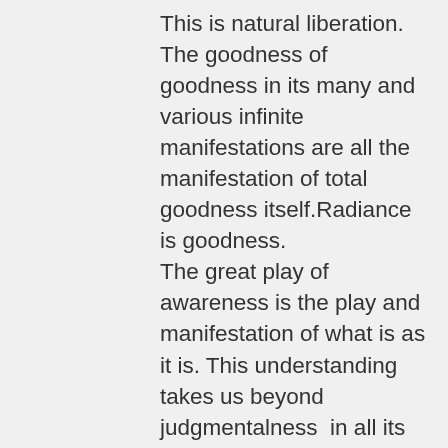This is natural liberation. The goodness of goodness in its many and various infinite manifestations are all the manifestation of total goodness itself.Radiance is goodness. The great play of awareness is the play and manifestation of what is as it is. This understanding takes us beyond judgmentalness  in all its infinite variations.The vast array of terrible violence is itself the manifestation of radiance awareness. All the infinitely  various situations bring forth the perfection of goodness. Suffering in all its forms is the manifestation of radiance. All desire is the manifestation of radiance. Unbound radiance is creating and destroying, appearing and disappearing, manifesting and